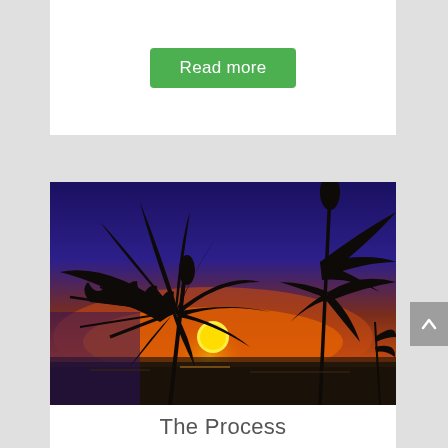Read more
[Figure (photo): Silhouette of cannabis plant leaves against a vibrant sunset sky with orange, red, and deep blue colors, sun visible near horizon]
The Process